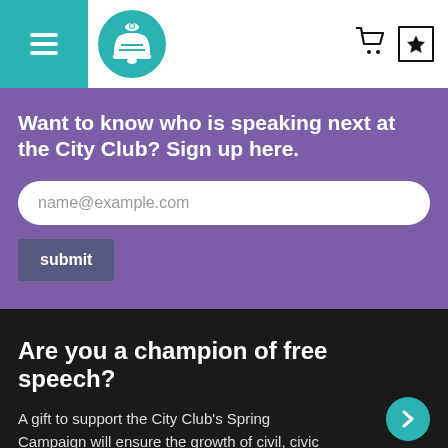[Figure (screenshot): Website header with teal hamburger menu background, bell logo in teal circle, shopping cart icon, and star/bookmark icon]
Want to know who is speaking next at the City Club? Sign up here.
name@example.com
submit
Are you a champion of free speech?
A gift to support the City Club's Spring Campaign will ensure the growth of civil, civic dialogue in the year ahead.